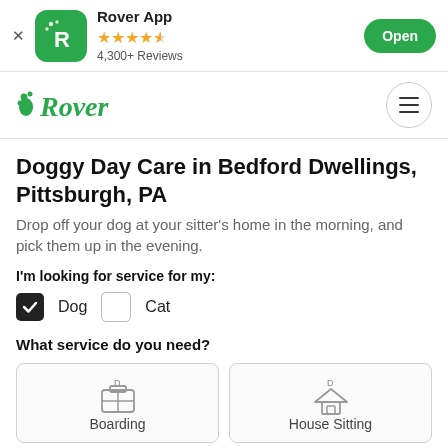Rover App — 4,300+ Reviews — Open
[Figure (logo): Rover website navigation bar with green Rover logo and hamburger menu]
Doggy Day Care in Bedford Dwellings, Pittsburgh, PA
Drop off your dog at your sitter's home in the morning, and pick them up in the evening.
I'm looking for service for my:
Dog (checked), Cat (unchecked)
What service do you need?
Boarding, House Sitting